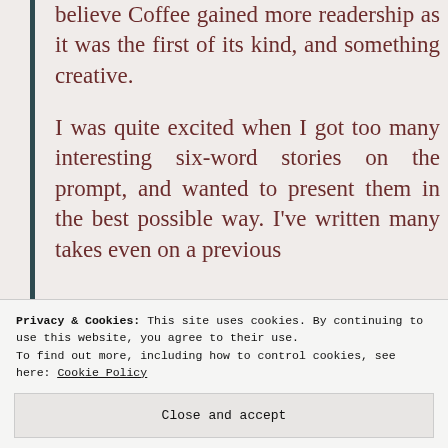believe Coffee gained more readership as it was the first of its kind, and something creative.
I was quite excited when I got too many interesting six-word stories on the prompt, and wanted to present them in the best possible way. I've written many takes even on a previous
Privacy & Cookies: This site uses cookies. By continuing to use this website, you agree to their use.
To find out more, including how to control cookies, see here: Cookie Policy
Close and accept